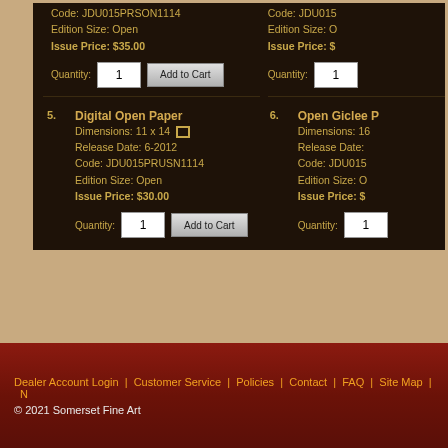Code: JDU015PRSON1114
Edition Size: Open
Issue Price: $35.00
Quantity: 1  Add to Cart
Code: JDU015
Edition Size: O
Issue Price: $
Quantity: 1
5. Digital Open Paper
Dimensions: 11 x 14
Release Date: 6-2012
Code: JDU015PRUSN1114
Edition Size: Open
Issue Price: $30.00
6. Open Giclee P
Dimensions: 16
Release Date:
Code: JDU015
Edition Size: O
Issue Price: $
Quantity: 1  Add to Cart
Quantity: 1
For Dealers: Please call your Sales Representative for Availabili
Dealer Account Login | Customer Service | Policies | Contact | FAQ | Site Map | N
© 2021 Somerset Fine Art